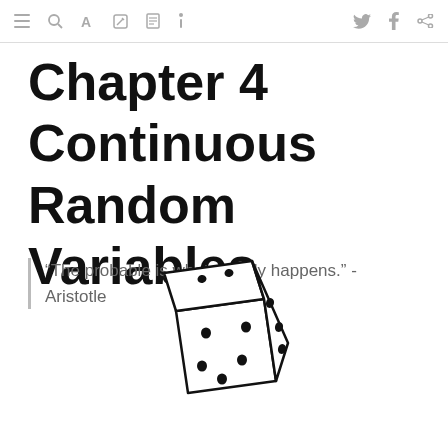toolbar icons
Chapter 4   Continuous Random Variables
“The probable is what usually happens.” - Aristotle
[Figure (illustration): Hand-drawn sketch of a six-sided die showing dots on visible faces]